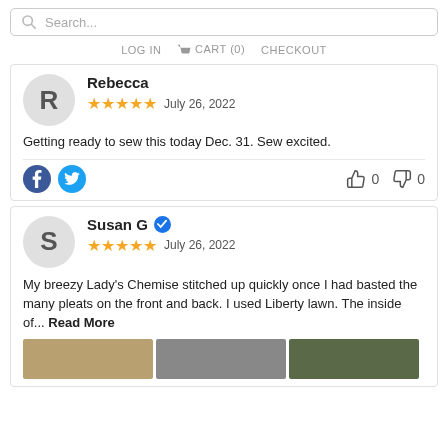Search...
LOG IN  CART (0)  CHECKOUT
Rebecca
★★★★★ July 26, 2022
Getting ready to sew this today Dec. 31. Sew excited.
Susan G ✔
★★★★★ July 26, 2022
My breezy Lady's Chemise stitched up quickly once I had basted the many pleats on the front and back. I used Liberty lawn. The inside of... Read More